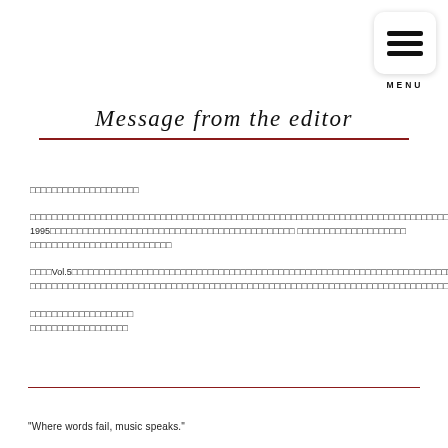Message from the editor
□□□□□□□□□□□□□□□□□□□□
□□□□□□□□□□□□□□□□□□□□□□□□□□□□□□□□□□□□□□□□□□□□□□□□□□□□□□□□□□□□□□□□□□□□□□□□□□□□□□ 1995□□□□□□□□□□□□□□□□□□□□□□□□□□□□□□□□□□□□□□□□□□□□□ □□□□□□□□□□□□□□□□□□□□□□□□□□□□□□□□□
□□□□Vol.5□□□□□□□□□□□□□□□□□□□□□□□□□□□□□□□□□□□□□□□□□□□□□□□□□□□□□□□□□□□□□□□□□□□□□□□□□□□□□□□□□□□□□□□□□□□□□□□□□□□□□□□□□□□□□□□□□□
□□□□□□□□□□□□□□□□□□□
□□□□□□□□□□□□□□□□□□
"Where words fail, music speaks."